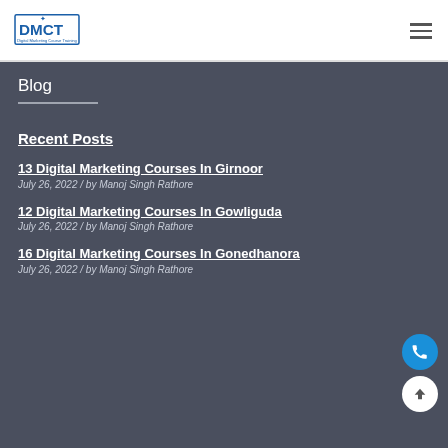DMCT Digital Marketing Course Training
Blog
Recent Posts
13 Digital Marketing Courses In Girnoor
July 26, 2022 / by Manoj Singh Rathore
12 Digital Marketing Courses In Gowliguda
July 26, 2022 / by Manoj Singh Rathore
16 Digital Marketing Courses In Gonedhanora
July 26, 2022 / by Manoj Singh Rathore